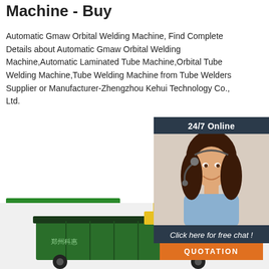Machine - Buy
Automatic Gmaw Orbital Welding Machine, Find Complete Details about Automatic Gmaw Orbital Welding Machine,Automatic Laminated Tube Machine,Orbital Tube Welding Machine,Tube Welding Machine from Tube Welders Supplier or Manufacturer-Zhengzhou Kehui Technology Co., Ltd.
[Figure (photo): Customer service representative with headset, chat widget showing 24/7 Online, Click here for free chat!, and QUOTATION button]
[Figure (photo): Green industrial machine or container with yellow components, partially visible at bottom of page]
Get Price